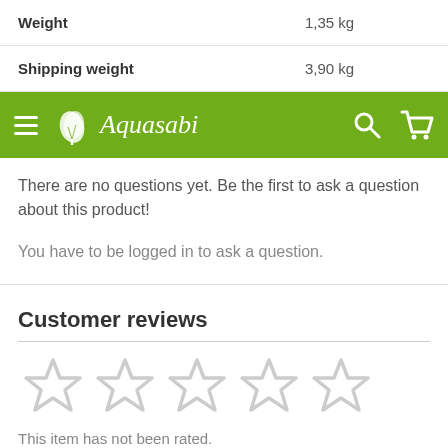| Weight | 1,35 kg |
| Shipping weight | 3,90 kg |
[Figure (screenshot): Aquasabi website navigation bar with green background, hamburger menu, plant logo, brand name Aquasabi, search icon, and cart icon]
There are no questions yet. Be the first to ask a question about this product!
You have to be logged in to ask a question.
Customer reviews
[Figure (other): Five empty star rating icons in light gray]
This item has not been rated.